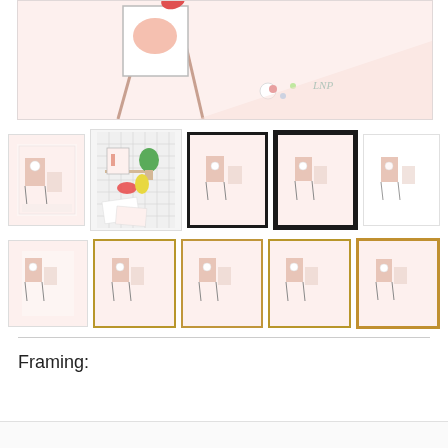[Figure (illustration): Top portion of an art print showing a pink-toned illustration with a figure painting at an easel, signed LNP]
[Figure (photo): Grid of 10 product thumbnails showing art print in various framing options: unframed, lifestyle scene, black frame (thin), black frame (wide), no frame white border, and gold/natural frame variants in two rows]
Framing: